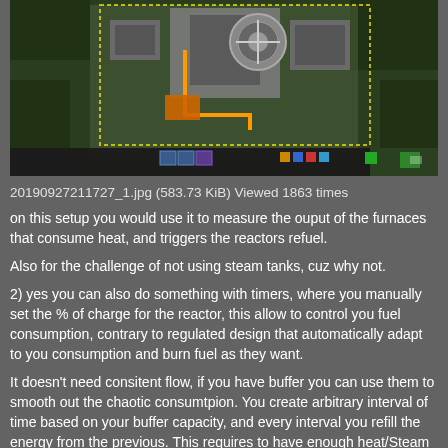[Figure (screenshot): Top-down view of a Factorio game map showing nuclear reactor setup with orange/yellow heat pipe connections, buildings, and trees. UI elements visible at the bottom including inventory and minimap.]
20190927211727_1.jpg (583.73 KiB) Viewed 1863 times
on this setup you would use it to measure the ouput of the furnaces that consume heat, and triggers the reactors refuel.
Also for the challenge of not using steam tanks, cuz why not.
2) yes you can also do something with timers, where you manually set the % of charge for the reactor, this allow to control you fuel consumption, contrary to regulated design that automatically adapt to you consumption and burn fuel as they want.
It doesn't need consitent flow, if you have buffer you can use them to smooth out the chaotic consumtpion. You create arbitrary interval of time based on your buffer capacity, and every interval you refill the energy from the previous. This requires to have enough heat/Steam buffered to handle one